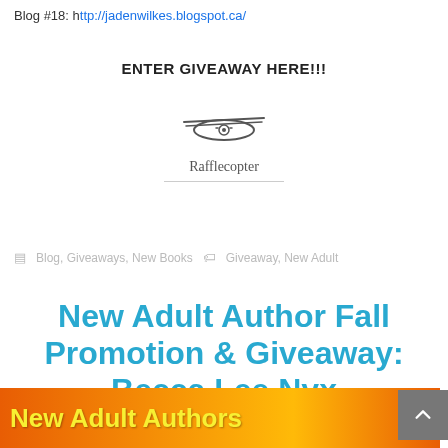Blog #18: http://jadenwilkes.blogspot.ca/
ENTER GIVEAWAY HERE!!!
[Figure (logo): Rafflecopter logo with a stylized helicopter/eye graphic and the text 'Rafflecopter' below, followed by a horizontal line]
Blog, Giveaways, New Books   Giveaway, New Adult
New Adult Author Fall Promotion & Giveaway: Becca Lee Nyx
[Figure (photo): Banner image with orange and yellow autumn leaves background and the text 'New Adult Authors' in yellow bold font]